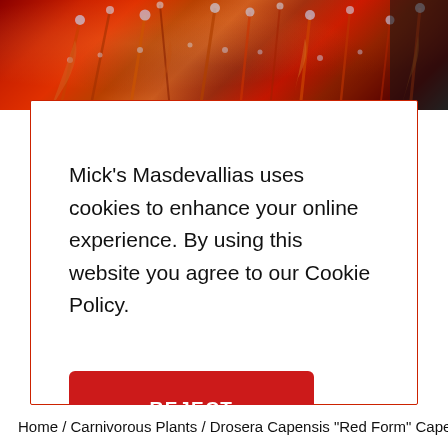[Figure (photo): Close-up photo of red carnivorous plant (Drosera) with dew drops on red sticky tentacles, filling the top strip of the page]
Mick's Masdevallias uses cookies to enhance your online experience. By using this website you agree to our Cookie Policy.
REJECT
ACCEPT
Home / Carnivorous Plants / Drosera Capensis "Red Form" Cape